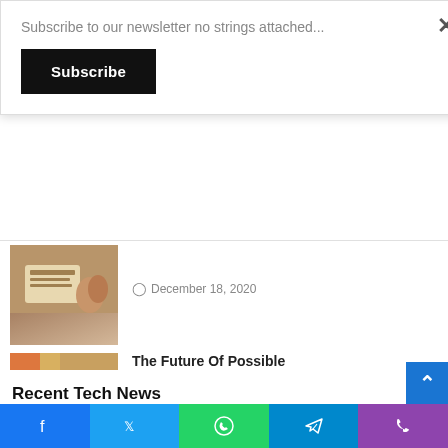Subscribe to our newsletter no strings attached...
Subscribe
×
[Figure (photo): Article thumbnail showing hands with a book or tablet]
December 18, 2020
[Figure (photo): Photo of a bicycle with red watermelon-inspired wheels leaning against a wall with colorful artwork]
The Future Of Possible
December 18, 2020
Recent Tech News
[Figure (photo): Photo showing Bosch, Texaco star logos on white items]
Facebook icon
Twitter icon
WhatsApp icon
Telegram icon
Phone icon